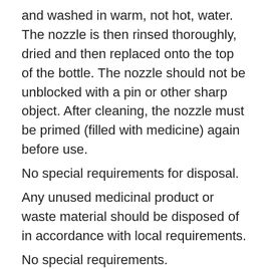and washed in warm, not hot, water. The nozzle is then rinsed thoroughly, dried and then replaced onto the top of the bottle. The nozzle should not be unblocked with a pin or other sharp object. After cleaning, the nozzle must be primed (filled with medicine) again before use.
No special requirements for disposal.
Any unused medicinal product or waste material should be disposed of in accordance with local requirements.
No special requirements.
Any unused medicinal product or waste material should be disposed of in accordance with local requirements.
Aldesonit price